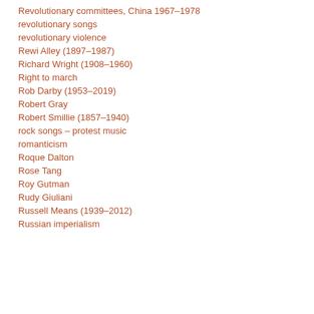Revolutionary committees, China 1967–1978
revolutionary songs
revolutionary violence
Rewi Alley (1897–1987)
Richard Wright (1908–1960)
Right to march
Rob Darby (1953–2019)
Robert Gray
Robert Smillie (1857–1940)
rock songs – protest music
romanticism
Roque Dalton
Rose Tang
Roy Gutman
Rudy Giuliani
Russell Means (1939–2012)
Russian imperialism